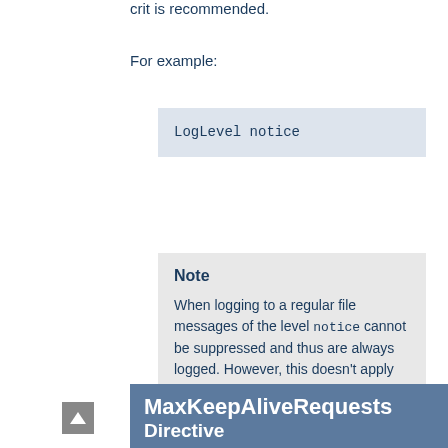crit is recommended.
For example:
LogLevel notice
Note
When logging to a regular file messages of the level notice cannot be suppressed and thus are always logged. However, this doesn't apply when logging is done using syslog.
MaxKeepAliveRequests Directive